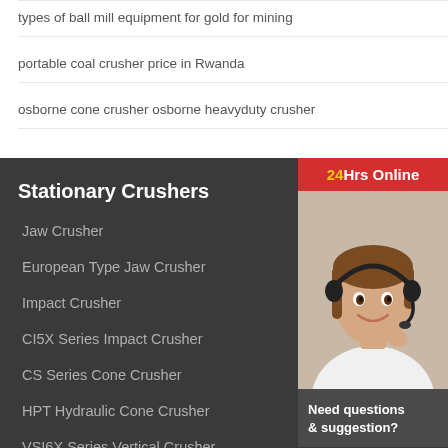types of ball mill equipment for gold for mining
portable coal crusher price in Rwanda
osborne cone crusher osborne heavyduty crusher
Stationary Crushers
Jaw Crusher
European Type Jaw Crusher
Impact Crusher
CI5X Series Impact Crusher
CS Series Cone Crusher
HPT Hydraulic Cone Crusher
VSI6X Series Vertical Crusher
Grinding Mill
LM Vertical Mill
[Figure (photo): Customer service representative wearing a headset, smiling, with '24Hrs Online' banner and 'Chat Now' button below]